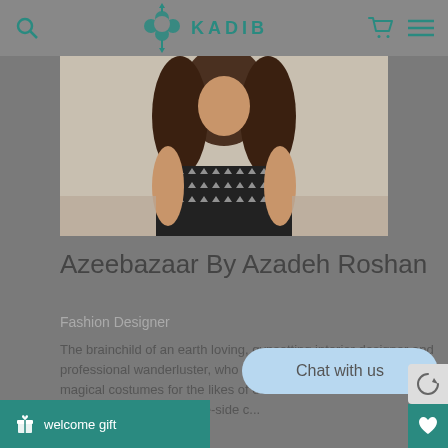[Figure (logo): KADIB brand logo with decorative floral/cross icon in teal color]
[Figure (photo): Close-up photo of a woman wearing a black and white patterned dress/top with curly hair]
Azeebazaar By Azadeh Roshan
Fashion Designer
The brainchild of an earth loving, gypsetting interior designer and professional wanderluster, who is passionate about making magical costumes for the likes of eccentri... tribal reservation family gatherings and lake-side c...
Chat with us
welcome gift